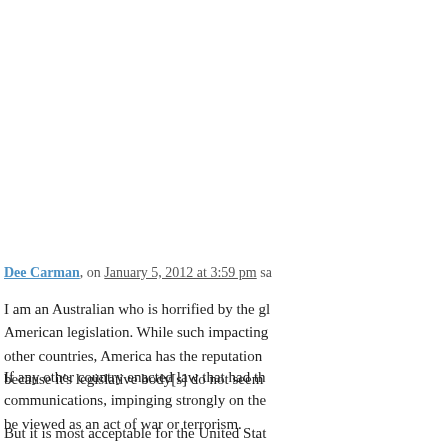So true. I wish everyone could unde... shills start talking about "lost sales,"... entire internet would not have paid f... Obviously there's some fraction of p... it for free, but it's probably pretty sm...
Like
Reply
Dee Carman, on January 5, 2012 at 3:59 pm sa...
I am an Australian who is horrified by the gl... American legislation. While such impacting... other countries, America has the reputation... because it's legislative body[s] do not seem...
If any other country enacted law that had th... communications, impinging strongly on the ... be viewed as an act of war or terrorism.
But it is most acceptable for the United Stat...
I am disgusted.... U.S.A.. Legislate for your...
Like
Reply